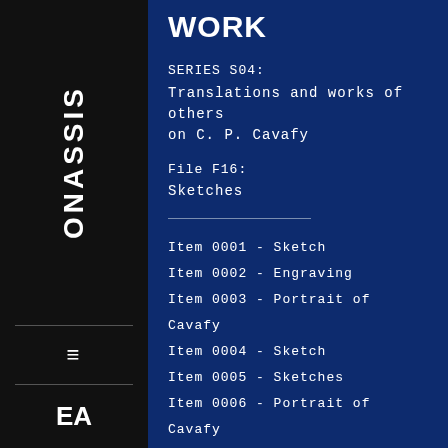ONASSIS
WORK
SERIES S04: Translations and works of others on C. P. Cavafy
File F16: Sketches
Item 0001 - Sketch
Item 0002 - Engraving
Item 0003 - Portrait of Cavafy
Item 0004 - Sketch
Item 0005 - Sketches
Item 0006 - Portrait of Cavafy